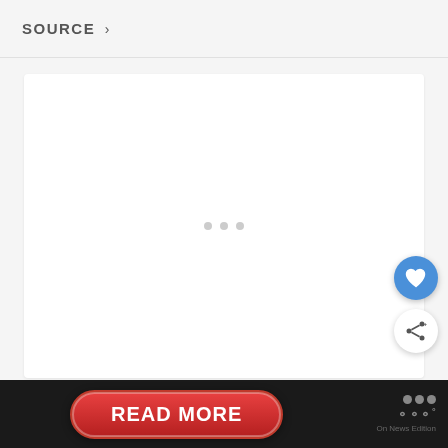SOURCE >
[Figure (screenshot): White card area with faint loading indicator dots in center]
READ MORE
° On News Edition